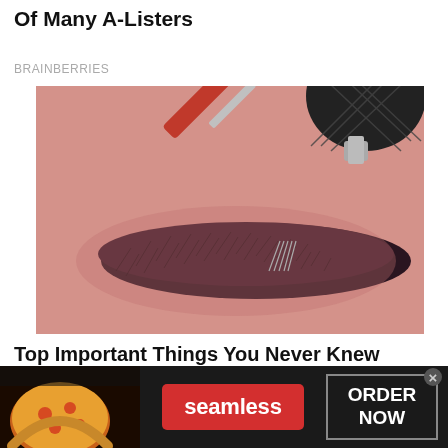A Cult Teen Show That Launched The Careers Of Many A-Listers
BRAINBERRIES
[Figure (photo): Close-up photo of a microblading procedure being performed on an eyebrow, showing a handheld tool with a red handle and needle tip touching the brow area.]
Top Important Things You Never Knew About Microblading
HERBEAUTY
[Figure (infographic): Seamless food delivery advertisement banner showing pizza image on the left, red Seamless button in the center, and ORDER NOW button on the right with an X close button.]